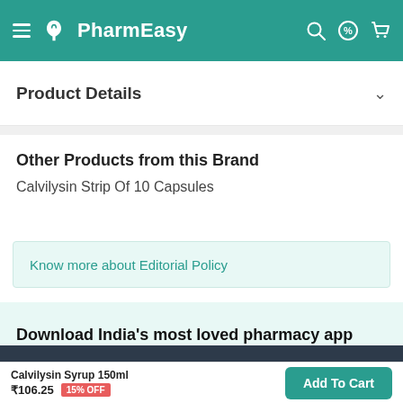PharmEasy
Product Details
Other Products from this Brand
Calvilysin Strip Of 10 Capsules
Know more about Editorial Policy
Download India's most loved pharmacy app
Browse offers and get FLAT 15% OFF
Calvilysin Syrup 150ml ₹106.25 15% OFF
Add To Cart